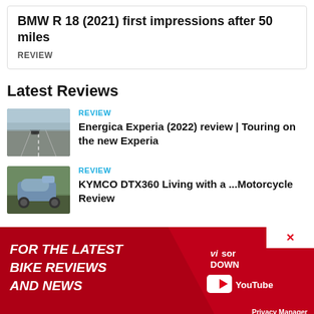BMW R 18 (2021) first impressions after 50 miles
REVIEW
Latest Reviews
[Figure (photo): Motorcycle riding on an open road, aerial view]
REVIEW
Energica Experia (2022) review | Touring on the new Experia
[Figure (photo): Blue scooter/motorcycle parked outdoors]
REVIEW
KYMCO DTX360 Living with a ...Motorcycle Review
[Figure (advertisement): Visordown YouTube advertisement banner reading FOR THE LATEST BIKE REVIEWS AND NEWS]